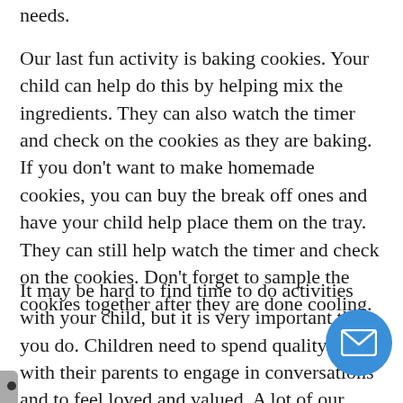needs.
Our last fun activity is baking cookies. Your child can help do this by helping mix the ingredients. They can also watch the timer and check on the cookies as they are baking. If you don't want to make homemade cookies, you can buy the break off ones and have your child help place them on the tray. They can still help watch the timer and check on the cookies. Don't forget to sample the cookies together after they are done cooling.
It may be hard to find time to do activities with your child, but it is very important that you do. Children need to spend quality time with their parents to engage in conversations and to feel loved and valued. A lot of our activities are simple and easy to do, but your child love the time spent together with you. We hope some of these activities work for your family or inspire